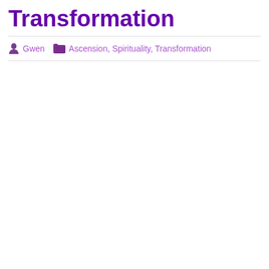Transformation
Gwen  Ascension, Spirituality, Transformation